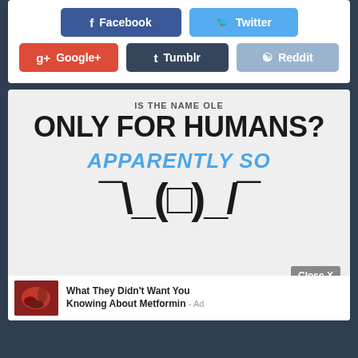[Figure (screenshot): Social share buttons: Facebook (dark blue), Twitter (light blue), Google+ (red), Tumblr (dark slate), Reddit (light blue)]
IS THE NAME OLE
ONLY FOR HUMANS?
APPARENTLY SO
¯\_(ツ)_/¯
Close X
What They Didn't Want You Knowing About Metformin - Ad